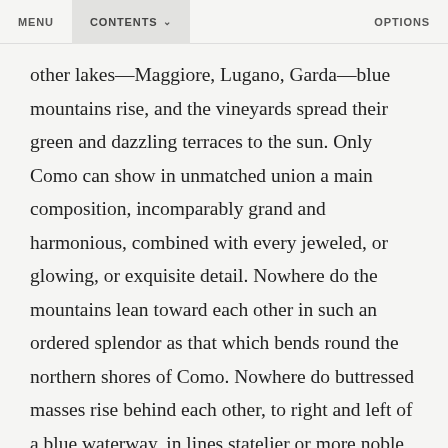MENU   CONTENTS   OPTIONS
other lakes—Maggiore, Lugano, Garda—blue mountains rise, and the vineyards spread their green and dazzling terraces to the sun. Only Como can show in unmatched union a main composition, incomparably grand and harmonious, combined with every jeweled, or glowing, or exquisite detail. Nowhere do the mountains lean toward each other in such an ordered splendor as that which bends round the northern shores of Como. Nowhere do buttressed masses rise behind each other, to right and left of a blue waterway, in lines statelier or more noble than those kept by the mountains of the Lecco Lake, as they marshal themselves on either hand, along the approaches to Lombardy and Venetia; bearing aloft, as